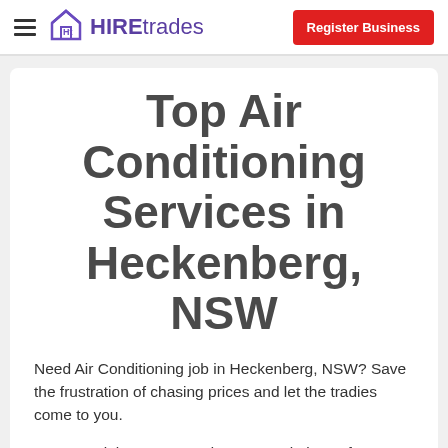HIREtrades | Register Business
Top Air Conditioning Services in Heckenberg, NSW
Need Air Conditioning job in Heckenberg, NSW? Save the frustration of chasing prices and let the tradies come to you.
Post your job on HIREtrades.com.au in just a few minutes - it is so simple to use. For users on the move you can download the HIREtrades app.